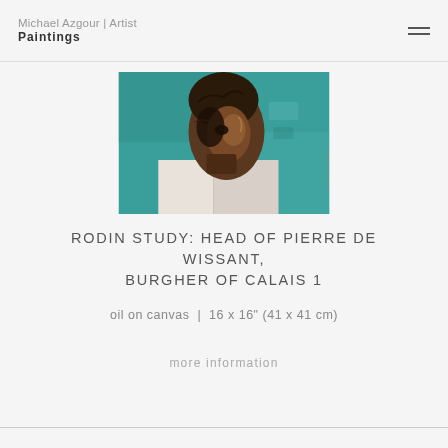Michael Azgour | Artist
Paintings
[Figure (photo): Painting of a sculptural head study — expressive dark brushwork depicting a head/bust against a teal/turquoise background, with warm brown and dark tones. Appears to be a study after Rodin's Head of Pierre de Wissant.]
RODIN STUDY: HEAD OF PIERRE DE WISSANT, BURGHER OF CALAIS 1
oil on canvas  |  16 x 16" (41 x 41 cm)
more information